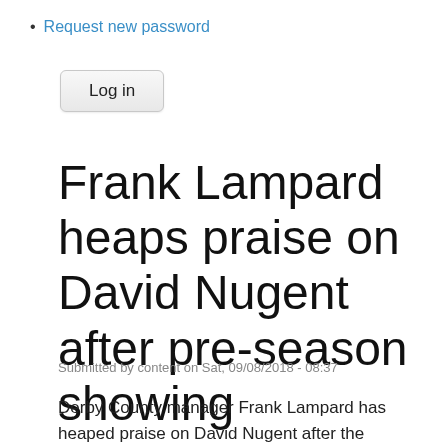Request new password
Log in
Frank Lampard heaps praise on David Nugent after pre-season showing
Submitted by content on Sat, 09/08/2018 - 08:37
Derby County manager Frank Lampard has heaped praise on David Nugent after the Englishman stood out during the club's pre-season program. The 33-year-old has shown